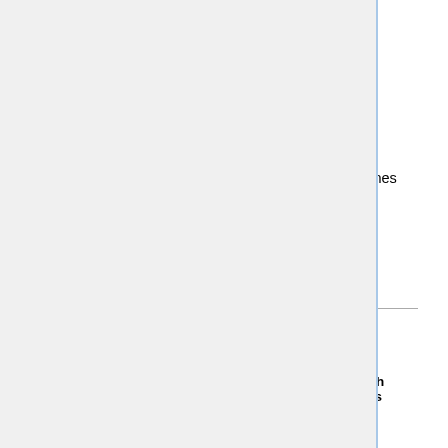|  |  |  |  |  |
| --- | --- | --- | --- | --- |
| * | MathJobs position |  |  |  |
| Positions | (p) | merely preferred | (t) | te |
|  | (o) | open rank | (n) | n |
| Apply by | (∞) | open indefinitely | (*) | cr |
| Names | italic | offer | bold | ad |
|  | ... | and others | □ | se |
"Apply by" can mean a strict deadline, or full consideration, or something else. Expired deadlines may be replaced by the last deadline listed. See the ads for details.
Note that the links should be directed to the job announcements rather than the department homepage.
United States
Long-term positions
A-K
| Institution | Areas | Apply by | Sh lis |
| --- | --- | --- | --- |